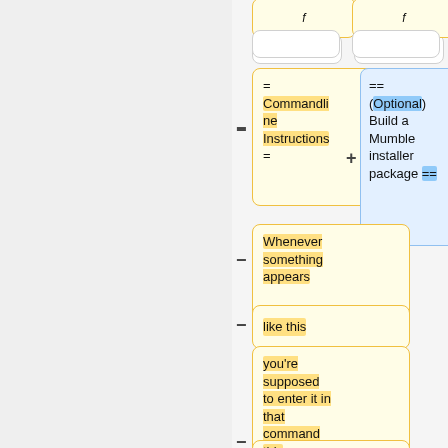[Figure (flowchart): Diff/merge flowchart showing wiki edit cards. Yellow cards show commandline instructions and text fragments. Blue card shows optional build Mumble installer package instruction. Cards are connected with minus and plus signs indicating diffs.]
= Commandline Instructions =
== (Optional) Build a Mumble installer package ==
Whenever something appears
like this
you're supposed to enter it in that command shell (or copy it from this